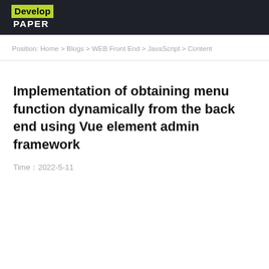[Figure (logo): DevelopPaper logo — green background for 'Develop', black background for 'PAPER' in white text]
Position: Home > Blogs > WEB Front End > JavaScript > Content
Implementation of obtaining menu function dynamically from the back end using Vue element admin framework
Time：2022-5-11